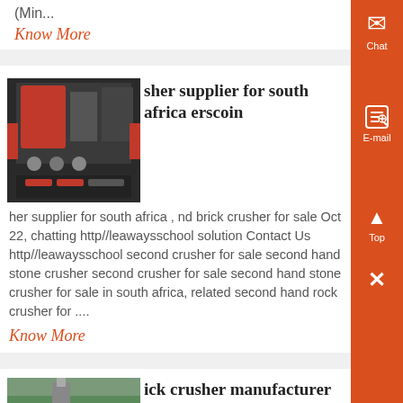(Min...
Know More
[Figure (photo): Photo of red industrial machinery/crusher equipment with cables and components]
sher supplier for south africa erscoin
her supplier for south africa , nd brick crusher for sale Oct 22, chatting http//leawaysschool solution Contact Us http//leawaysschool second crusher for sale second hand stone crusher second crusher for sale second hand stone crusher for sale in south africa, related second hand rock crusher for ....
Know More
[Figure (photo): Partial photo visible at bottom of page showing outdoor scene]
ick crusher manufacturer in